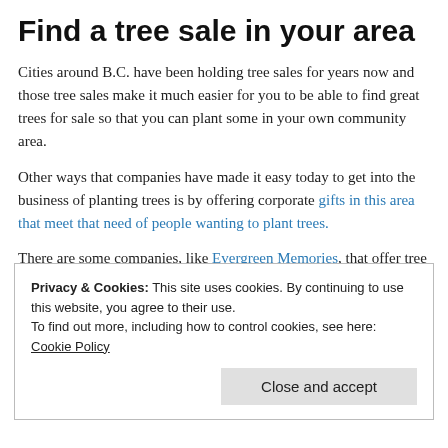Find a tree sale in your area
Cities around B.C. have been holding tree sales for years now and those tree sales make it much easier for you to be able to find great trees for sale so that you can plant some in your own community area.
Other ways that companies have made it easy today to get into the business of planting trees is by offering corporate gifts in this area that meet that need of people wanting to plant trees.
There are some companies, like Evergreen Memories, that offer tree seedlings as corporate gifts, or they can be used as wedding favors etc, and they make it easy for people to get
Privacy & Cookies: This site uses cookies. By continuing to use this website, you agree to their use.
To find out more, including how to control cookies, see here:
Cookie Policy

Close and accept